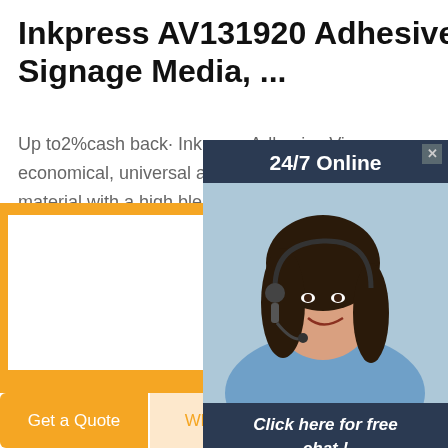Inkpress AV131920 Adhesive Vinyl Signage Media, ...
Up to2%cash back· Inkpress Adhesive Vinyl economical, universal and permanent self material with a high bleached, waterresista
[Figure (screenshot): Orange 'Get Price' button]
[Figure (screenshot): Popup overlay showing '24/7 Online' header with woman in headset, 'Click here for free chat!' text, and orange QUOTATION button]
[Figure (photo): Stone/brick wall texture photo]
Get a Quote
WhatsApp
Chat Now